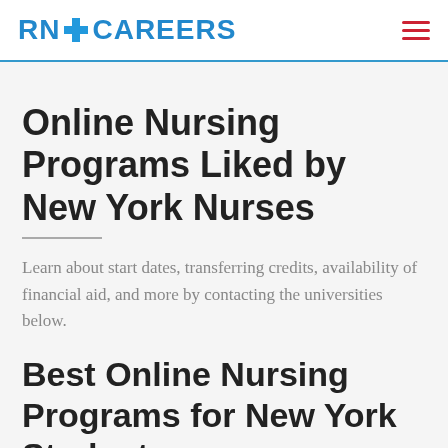RN+ CAREERS
Online Nursing Programs Liked by New York Nurses
Learn about start dates, transferring credits, availability of financial aid, and more by contacting the universities below.
Best Online Nursing Programs for New York Students